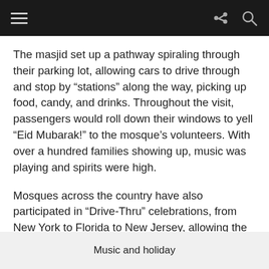[navigation bar with hamburger menu, share icon, search icon]
The masjid set up a pathway spiraling through their parking lot, allowing cars to drive through and stop by “stations” along the way, picking up food, candy, and drinks. Throughout the visit, passengers would roll down their windows to yell “Eid Mubarak!” to the mosque’s volunteers. With over a hundred families showing up, music was playing and spirits were high.
Mosques across the country have also participated in “Drive-Thru” celebrations, from New York to Florida to New Jersey, allowing the community to get together in a safe way.
Music and holiday